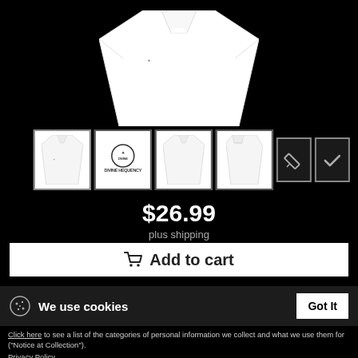[Figure (photo): Product page for a white polo shirt with 'Divine Hequency' logo. Shows main product image at top (white polo shirt), four thumbnail views (front with logo, logo closeup showing 'DIVINE HEQUENCY', front without logo, side view), plus pencil/edit icon and checkmark icon. Price shown as $26.99 plus shipping with an Add to cart button. Cookie consent bar reading 'We use cookies' with 'Got It' button. Bottom text with privacy links.]
$26.99
plus shipping
Add to cart
We use cookies
Got It
Click here to see a list of the categories of personal information we collect and what we use them for ("Notice at Collection").
Privacy Policy
Do Not Sell My Personal Information
By using this website, I agree to the Terms and Conditions